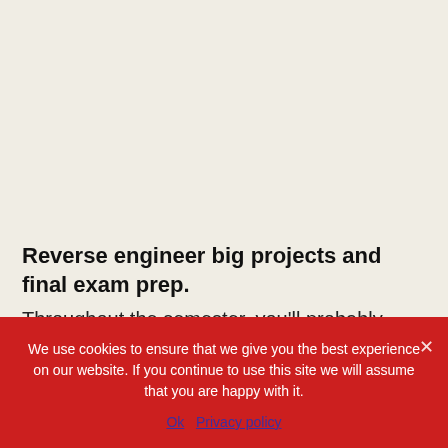Reverse engineer big projects and final exam prep.
Throughout the semester, you'll probably have big projects like term papers to turn in. One thing that helped me complete these tasks on time and with little stress was
We use cookies to ensure that we give you the best experience on our website. If you continue to use this site we will assume that you are happy with it.
Ok   Privacy policy